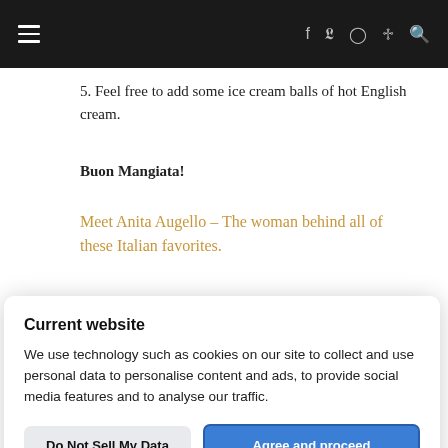Navigation bar with hamburger menu and social icons: f (Facebook), Twitter, Instagram, Pinterest, Search
5. Feel free to add some ice cream balls of hot English cream.
Buon Mangiata!
Meet Anita Augello – The woman behind all of these Italian favorites.
Current website
We use technology such as cookies on our site to collect and use personal data to personalise content and ads, to provide social media features and to analyse our traffic.
Do Not Sell My Data
Agree and proceed
Powered by 🛡niConsent